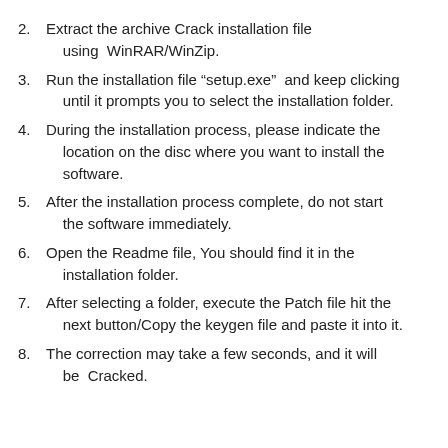2. Extract the archive Crack installation file using WinRAR/WinZip.
3. Run the installation file “setup.exe” and keep clicking until it prompts you to select the installation folder.
4. During the installation process, please indicate the location on the disc where you want to install the software.
5. After the installation process complete, do not start the software immediately.
6. Open the Readme file, You should find it in the installation folder.
7. After selecting a folder, execute the Patch file hit the next button/Copy the keygen file and paste it into it.
8. The correction may take a few seconds, and it will be Cracked.